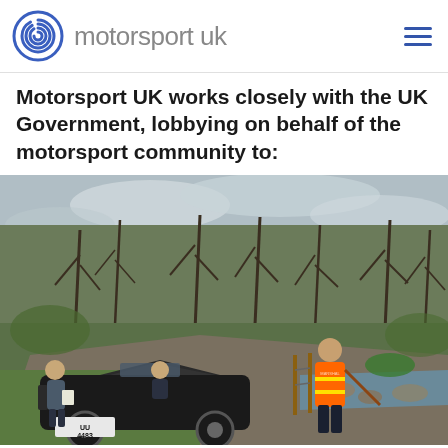motorsport uk
Motorsport UK works closely with the UK Government, lobbying on behalf of the motorsport community to:
[Figure (photo): Outdoor scene with an old vintage dark car (registration UU 4483) on a rough track in a woodland/valley setting. A marshal in an orange high-visibility vest stands to the right, and two other people are near/in the vehicle on the left. Bare winter trees and green grass are visible in the background.]